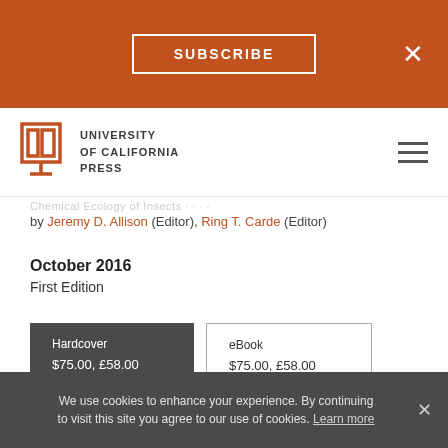SUBSCRIBE
[Figure (logo): University of California Press logo with open book icon and text]
by Jeremy D. Allison (Editor), Ring T. Carde (Editor)
October 2016
First Edition
Hardcover
$75.00,  £58.00
eBook
$75.00,  £58.00
TITLE DETAILS
Rights: Available worldwide
Pages: 416
We use cookies to enhance your experience. By continuing to visit this site you agree to our use of cookies. Learn more